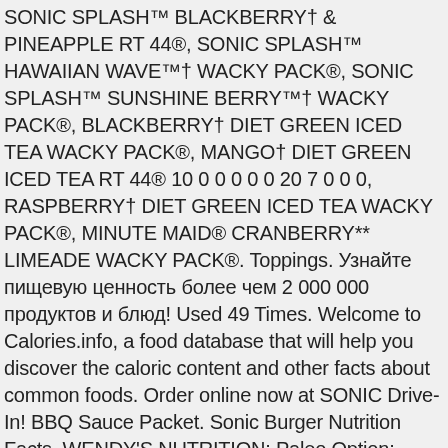SONIC SPLASH™ BLACKBERRY† & PINEAPPLE RT 44®, SONIC SPLASH™ HAWAIIAN WAVE™† WACKY PACK®, SONIC SPLASH™ SUNSHINE BERRY™† WACKY PACK®, BLACKBERRY† DIET GREEN ICED TEA WACKY PACK®, MANGO† DIET GREEN ICED TEA RT 44® 10 0 0 0 0 0 20 7 0 0 0, RASPBERRY† DIET GREEN ICED TEA WACKY PACK®, MINUTE MAID® CRANBERRY** LIMEADE WACKY PACK®. Toppings. Узнайте пищевую ценность более чем 2 000 000 продуктов и блюд! Used 49 Times. Welcome to Calories.info, a food database that will help you discover the caloric content and other facts about common foods. Order online now at SONIC Drive-In! BBQ Sauce Packet. Sonic Burger Nutrition Facts. WENDY'S NUTRITION: Paleo Option: Lettuce Wrap Dave's Double with cheese (no buns) It was first introduced nationally last year on a limited-time basis and is basically a Fritos Pie wrapped up as a burrito. Burger